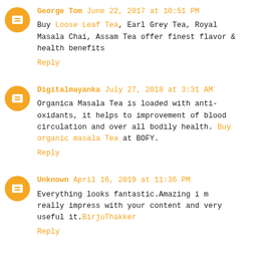George Tom June 22, 2017 at 10:51 PM
Buy Loose Leaf Tea, Earl Grey Tea, Royal Masala Chai, Assam Tea offer finest flavor & health benefits
Reply
Digitalmayanka July 27, 2018 at 3:31 AM
Organica Masala Tea is loaded with anti-oxidants, it helps to improvement of blood circulation and over all bodily health. Buy organic masala Tea at BOFY.
Reply
Unknown April 16, 2019 at 11:36 PM
Everything looks fantastic.Amazing i m really impress with your content and very useful it.BirjuThakker
Reply